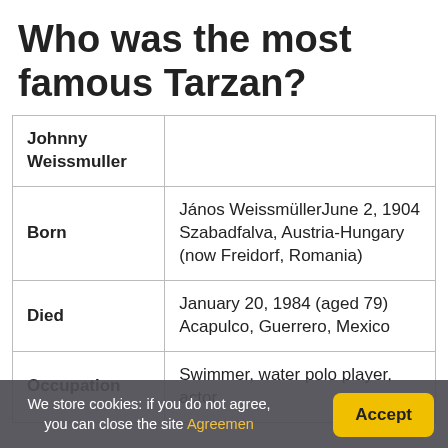Who was the most famous Tarzan?
| Johnny Weissmuller |  |
| Born | János WeissmüllerJune 2, 1904 Szabadfalva, Austria-Hungary (now Freidorf, Romania) |
| Died | January 20, 1984 (aged 79) Acapulco, Guerrero, Mexico |
| Occupation | Swimmer, water polo player, actor |
We store cookies: if you do not agree, you can close the site Agreemen   Accept